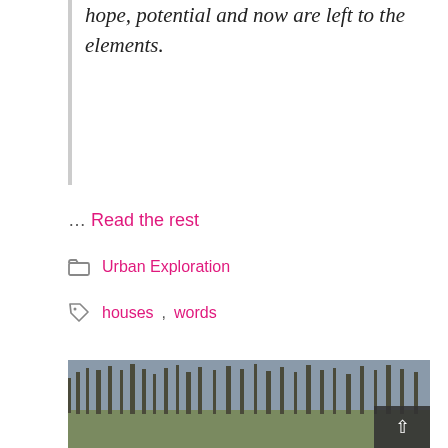hope, potential and now are left to the elements.
… Read the rest
Urban Exploration
houses, words
Your Car is Waiting…
October 23, 2006 by Laura Brown
[Figure (photo): Outdoor photo showing bare trees against a grey sky with open field, a dark overlay button with upward arrow in the bottom right corner]